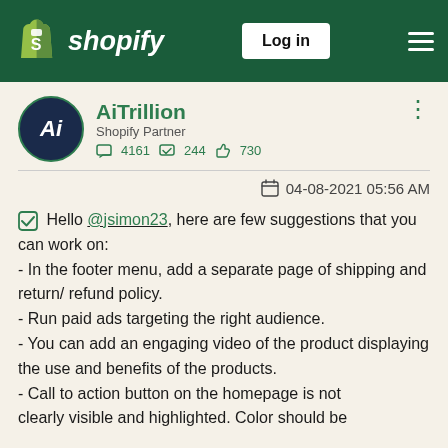Shopify — Log in
AiTrillion
Shopify Partner
4161  244  730
04-08-2021 05:56 AM
Hello @jsimon23, here are few suggestions that you can work on:
- In the footer menu, add a separate page of shipping and return/ refund policy.
- Run paid ads targeting the right audience.
- You can add an engaging video of the product displaying the use and benefits of the products.
- Call to action button on the homepage is not clearly visible and highlighted. Color should be